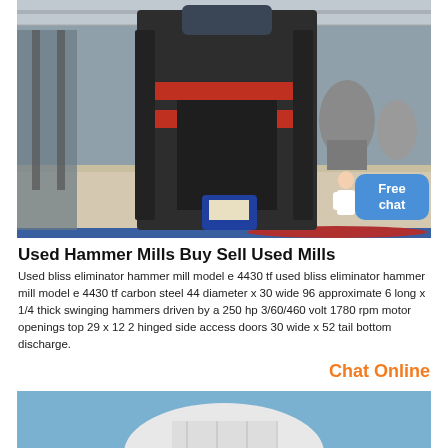[Figure (photo): Industrial hammer mill machine in a large factory/warehouse setting, showing a large dark-colored crusher/mill with red accent rings on a gravel floor, with additional milling equipment visible in the background. A chat bubble overlay reads 'Free chat' with a person icon.]
Used Hammer Mills Buy Sell Used Mills
Used bliss eliminator hammer mill model e 4430 tf used bliss eliminator hammer mill model e 4430 tf carbon steel 44 diameter x 30 wide 96 approximate 6 long x 1/4 thick swinging hammers driven by a 250 hp 3/60/460 volt 1780 rpm motor openings top 29 x 12 2 hinged side access doors 30 wide x 52 tail bottom discharge.
Chat Online
[Figure (photo): Partial view of what appears to be a white industrial equipment or mill from below against a blue sky background.]